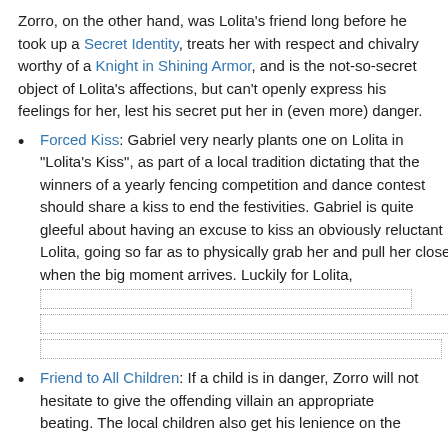Zorro, on the other hand, was Lolita's friend long before he took up a Secret Identity, treats her with respect and chivalry worthy of a Knight in Shining Armor, and is the not-so-secret object of Lolita's affections, but can't openly express his feelings for her, lest his secret put her in (even more) danger.
Forced Kiss: Gabriel very nearly plants one on Lolita in "Lolita's Kiss", as part of a local tradition dictating that the winners of a yearly fencing competition and dance contest should share a kiss to end the festivities. Gabriel is quite gleeful about having an excuse to kiss an obviously reluctant Lolita, going so far as to physically grab her and pull her closer when the big moment arrives. Luckily for Lolita, [spoiler text]
Friend to All Children: If a child is in danger, Zorro will not hesitate to give the offending villain an appropriate beating. The local children also get his lenience on the...